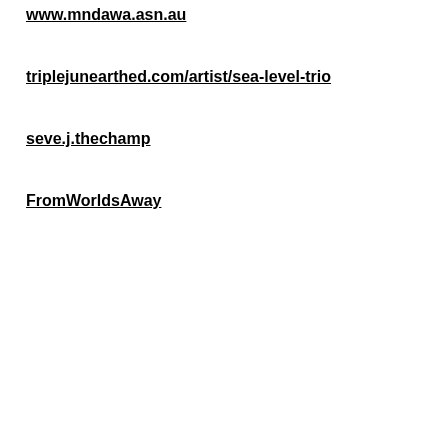www.mndawa.asn.au
triplejunearthed.com/artist/sea-level-trio
seve.j.thechamp
FromWorldsAway